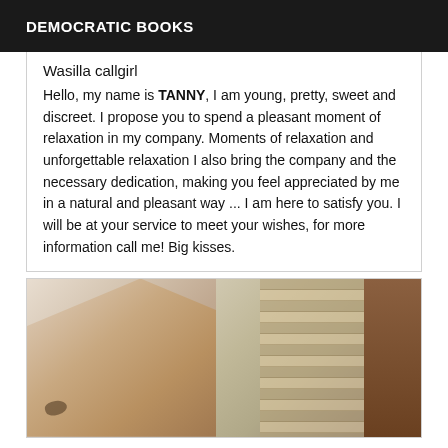DEMOCRATIC BOOKS
Wasilla callgirl
Hello, my name is TANNY, I am young, pretty, sweet and discreet. I propose you to spend a pleasant moment of relaxation in my company. Moments of relaxation and unforgettable relaxation I also bring the company and the necessary dedication, making you feel appreciated by me in a natural and pleasant way ... I am here to satisfy you. I will be at your service to meet your wishes, for more information call me! Big kisses.
[Figure (photo): Photo of a person on a bed with window blinds visible in background and a wooden door on the right side]